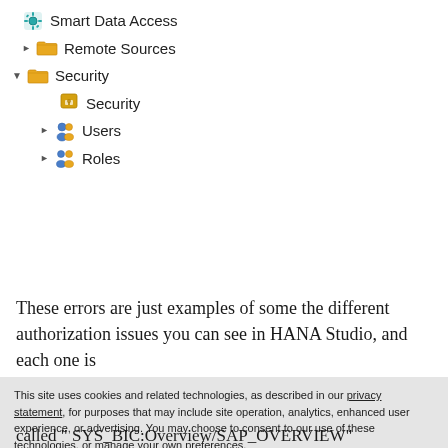[Figure (screenshot): Tree navigation panel showing: Smart Data Access (teal icon), Remote Sources (folder, collapsed), Security (folder, expanded) with sub-items Security, Users, Roles]
These errors are just examples of some the different authorization issues you can see in HANA Studio, and each one is
This site uses cookies and related technologies, as described in our privacy statement, for purposes that may include site operation, analytics, enhanced user experience, or advertising. You may choose to consent to our use of these technologies, or manage your own preferences.
Accept Cookies
More Information
Privacy Policy | Powered by: TrustArc
called " SYS_BIC:Overview/SAP_OVERVIEW"